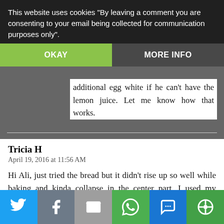This website uses cookies "By leaving a comment you are consenting to your email being collected for communication purposes only".
OKAY
MORE INFO
additional egg white if he can't have the lemon juice. Let me know how that works.
Tricia H
April 19, 2016 at 11:56 AM
Hi Ali, just tried the bread but it didn't rise up so well while baking and kinda collapse in the center part. I used my Kenwood BM on gluten mode but it takes a cycle of 21/4 hrs cycle and it did churn several times. Could it be that it was mixing too